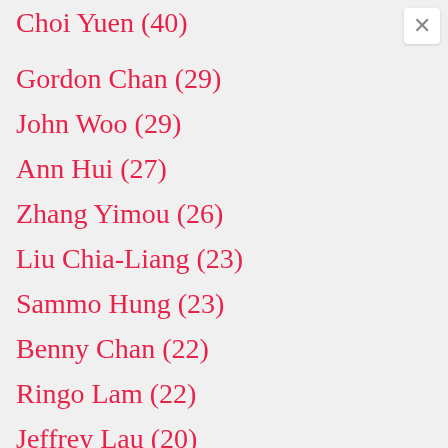Choi Yuen (40)
Gordon Chan (29)
John Woo (29)
Ann Hui (27)
Zhang Yimou (26)
Liu Chia-Liang (23)
Sammo Hung (23)
Benny Chan (22)
Ringo Lam (22)
Jeffrey Lau (20)
Chen Kaige (19)
Wilson Yip (19)